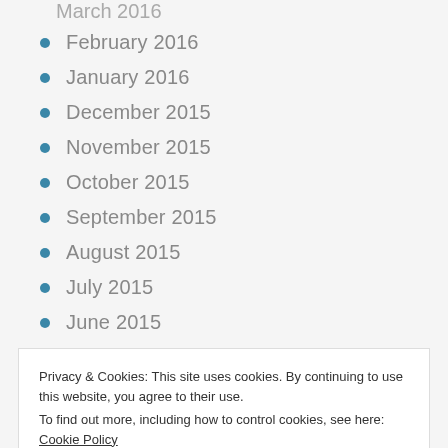February 2016
January 2016
December 2015
November 2015
October 2015
September 2015
August 2015
July 2015
June 2015
May 2015
April 2015
March 2015
Privacy & Cookies: This site uses cookies. By continuing to use this website, you agree to their use.
To find out more, including how to control cookies, see here: Cookie Policy
September 2014